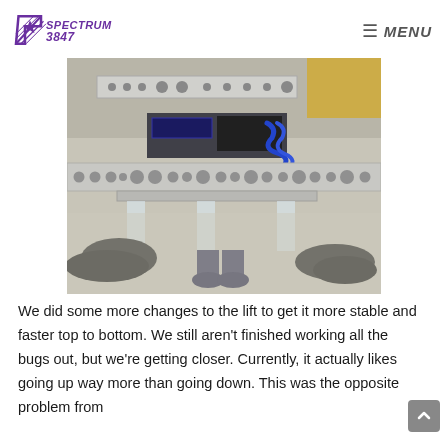Spectrum 3847 — MENU
[Figure (photo): Photo of a robotics lift mechanism on a robot chassis, viewed from ground level. Students' feet and shoes are visible in the background. The aluminum frame with circular holes is prominent, with blue wiring coiled on top.]
We did some more changes to the lift to get it more stable and faster top to bottom. We still aren't finished working all the bugs out, but we're getting closer. Currently, it actually likes going up way more than going down. This was the opposite problem from